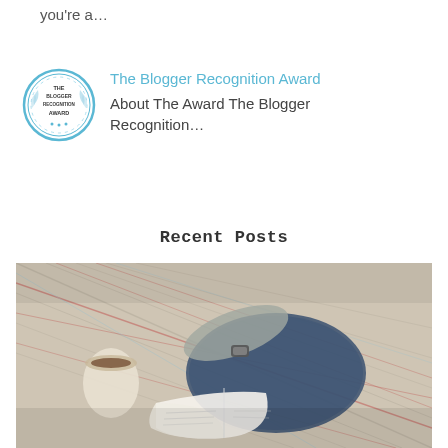you're a…
[Figure (logo): The Blogger Recognition Award circular badge logo with blue border and text]
The Blogger Recognition Award
About The Award The Blogger Recognition…
Recent Posts
[Figure (photo): Overhead photo of a person sitting on a patterned quilt/blanket, holding a coffee cup, wearing jeans, with an open book in their lap]